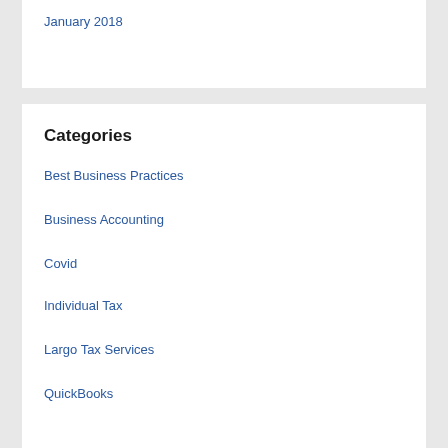January 2018
Categories
Best Business Practices
Business Accounting
Covid
Individual Tax
Largo Tax Services
QuickBooks